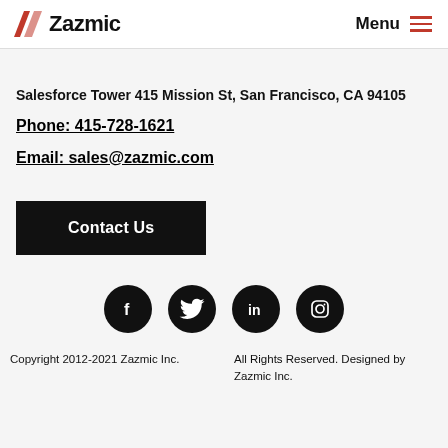Zazmic  Menu
Salesforce Tower 415 Mission St, San Francisco, CA 94105
Phone: 415-728-1621
Email: sales@zazmic.com
Contact Us
[Figure (other): Social media icons row: Facebook, Twitter, LinkedIn, Instagram — white icons on black circles]
Copyright 2012-2021 Zazmic Inc.  All Rights Reserved. Designed by Zazmic Inc.